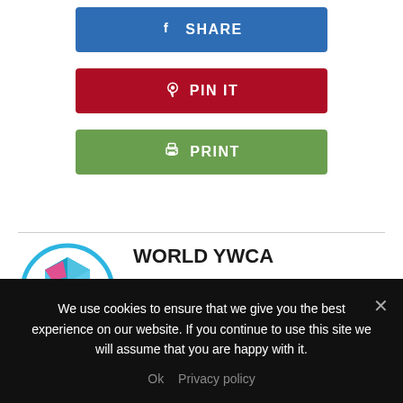[Figure (other): Blue Facebook Share button with 'f' icon and text 'SHARE']
[Figure (other): Red Pinterest Pin It button with Pinterest icon and text 'PIN IT']
[Figure (other): Green Print button with printer icon and text 'PRINT']
[Figure (logo): World YWCA circular logo with colorful geometric shapes]
WORLD YWCA
She Speaks is a blog that features contributions from young women and
We use cookies to ensure that we give you the best experience on our website. If you continue to use this site we will assume that you are happy with it.
Ok  Privacy policy